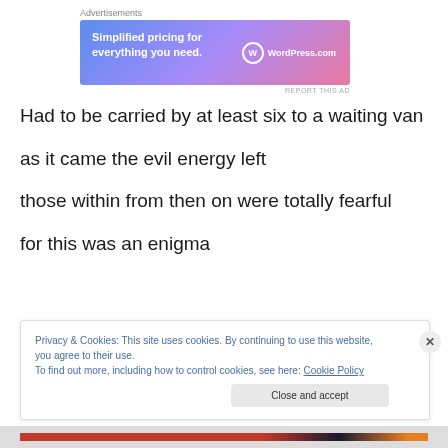Advertisements
[Figure (other): WordPress.com advertisement banner: 'Simplified pricing for everything you need.' with WordPress.com logo]
Had to be carried by at least six to a waiting van
as it came the evil energy left
those within from then on were totally fearful
for this was an enigma
Privacy & Cookies: This site uses cookies. By continuing to use this website, you agree to their use.
To find out more, including how to control cookies, see here: Cookie Policy
Close and accept